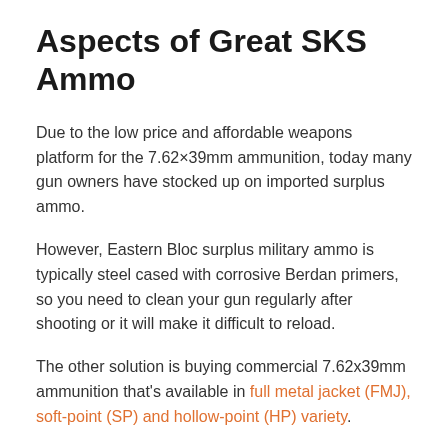Aspects of Great SKS Ammo
Due to the low price and affordable weapons platform for the 7.62×39mm ammunition, today many gun owners have stocked up on imported surplus ammo.
However, Eastern Bloc surplus military ammo is typically steel cased with corrosive Berdan primers, so you need to clean your gun regularly after shooting or it will make it difficult to reload.
The other solution is buying commercial 7.62x39mm ammunition that's available in full metal jacket (FMJ), soft-point (SP) and hollow-point (HP) variety.